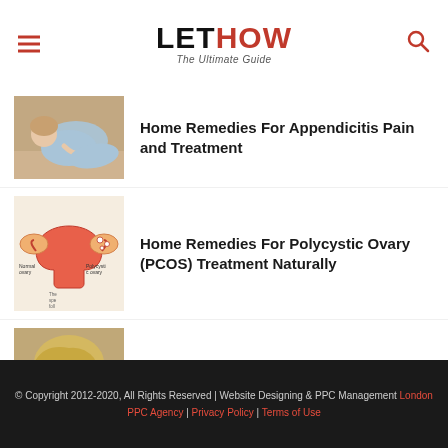LETHOW The Ultimate Guide
[Figure (photo): Person holding abdomen in pain, appendicitis article thumbnail]
Home Remedies For Appendicitis Pain and Treatment
[Figure (illustration): Medical illustration of polycystic ovary (PCOS) anatomy diagram]
Home Remedies For Polycystic Ovary (PCOS) Treatment Naturally
[Figure (photo): Woman with short blonde haircut, smiling]
20 Trendy Short Haircuts
© Copyright 2012-2020, All Rights Reserved | Website Designing & PPC Management London PPC Agency | Privacy Policy | Terms of Use